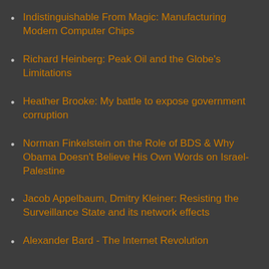Indistinguishable From Magic: Manufacturing Modern Computer Chips
Richard Heinberg: Peak Oil and the Globe's Limitations
Heather Brooke: My battle to expose government corruption
Norman Finkelstein on the Role of BDS & Why Obama Doesn't Believe His Own Words on Israel-Palestine
Jacob Appelbaum, Dmitry Kleiner: Resisting the Surveillance State and its network effects
Alexander Bard - The Internet Revolution